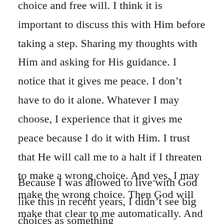choice and free will. I think it is important to discuss this with Him before taking a step. Sharing my thoughts with Him and asking for His guidance. I notice that it gives me peace. I don't have to do it alone. Whatever I may choose, I experience that it gives me peace because I do it with Him. I trust that He will call me to a halt if I threaten to make a wrong choice. And yes, I may make the wrong choice. Then God will make that clear to me automatically. And there is always the possibility to 'return'.
Because I was allowed to live with God like this in recent years, I didn't see big choices as something